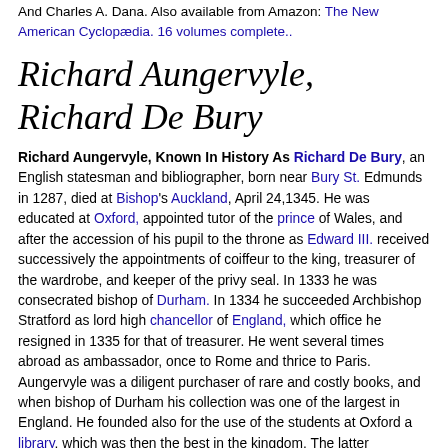And Charles A. Dana. Also available from Amazon: The New American Cyclopædia. 16 volumes complete..
Richard Aungervyle, Richard De Bury
Richard Aungervyle, Known In History As Richard De Bury, an English statesman and bibliographer, born near Bury St. Edmunds in 1287, died at Bishop's Auckland, April 24,1345. He was educated at Oxford, appointed tutor of the prince of Wales, and after the accession of his pupil to the throne as Edward III. received successively the appointments of coiffeur to the king, treasurer of the wardrobe, and keeper of the privy seal. In 1333 he was consecrated bishop of Durham. In 1334 he succeeded Archbishop Stratford as lord high chancellor of England, which office he resigned in 1335 for that of treasurer. He went several times abroad as ambassador, once to Rome and thrice to Paris. Aungervyle was a diligent purchaser of rare and costly books, and when bishop of Durham his collection was one of the largest in England. He founded also for the use of the students at Oxford a library, which was then the best in the kingdom. The latter